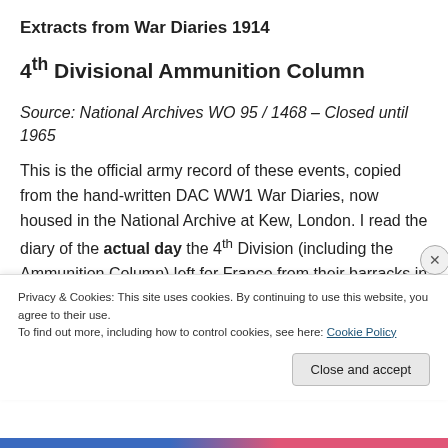Extracts from War Diaries 1914
4th Divisional Ammunition Column
Source: National Archives WO 95 / 1468 – Closed until 1965
This is the official army record of these events, copied from the hand-written DAC WW1 War Diaries, now housed in the National Archive at Kew, London. I read the diary of the actual day the 4th Division (including the Ammunition Column) left for France from their barracks in London. The
Privacy & Cookies: This site uses cookies. By continuing to use this website, you agree to their use. To find out more, including how to control cookies, see here: Cookie Policy
Close and accept